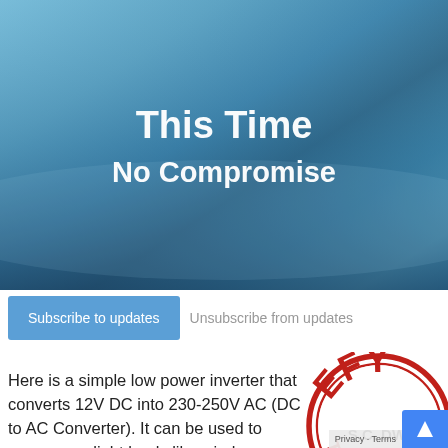[Figure (illustration): Blue gradient banner image with text 'This Time No Compromise' in white bold text on a steel-blue background]
Subscribe to updates
Unsubscribe from updates
Here is a simple low power inverter that converts 12V DC into 230-250V AC (DC to AC Converter). It can be used to power very light loads like window chargers and night lamps, or simply give a shock to keep the
[Figure (logo): EFY tested stamp logo in red with text 'EFY' at top and 'TESTED' at bottom, with 'S.C. DWI' visible in center]